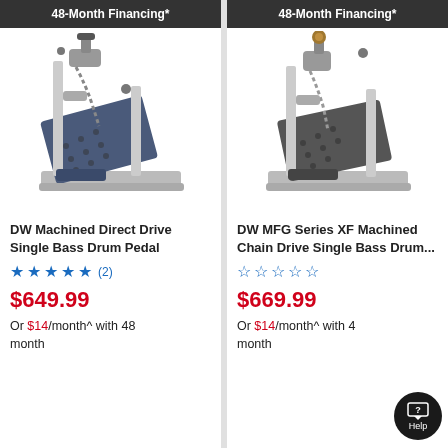48-Month Financing*
[Figure (photo): DW Machined Direct Drive Single Bass Drum Pedal product photo — silver metal bass drum pedal with chain mechanism and dark blue footboard]
DW Machined Direct Drive Single Bass Drum Pedal
★★★★★ (2)
$649.99
Or $14/month^ with 48 month
48-Month Financing*
[Figure (photo): DW MFG Series XF Machined Chain Drive Single Bass Drum pedal product photo — silver metal bass drum pedal with chain drive and dark footboard]
DW MFG Series XF Machined Chain Drive Single Bass Drum...
☆☆☆☆☆
$669.99
Or $14/month^ with 48 month